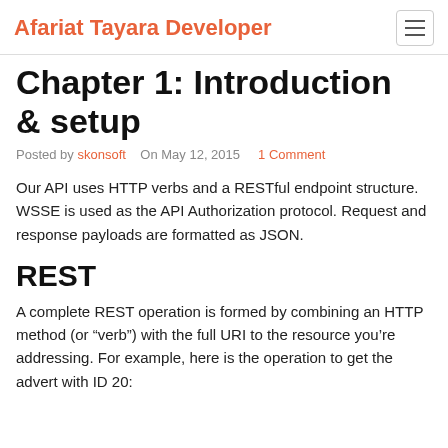Afariat Tayara Developer
Chapter 1: Introduction & setup
Posted by skonsoft   On May 12, 2015   1 Comment
Our API uses HTTP verbs and a RESTful endpoint structure. WSSE is used as the API Authorization protocol. Request and response payloads are formatted as JSON.
REST
A complete REST operation is formed by combining an HTTP method (or “verb”) with the full URI to the resource you’re addressing. For example, here is the operation to get the advert with ID 20: